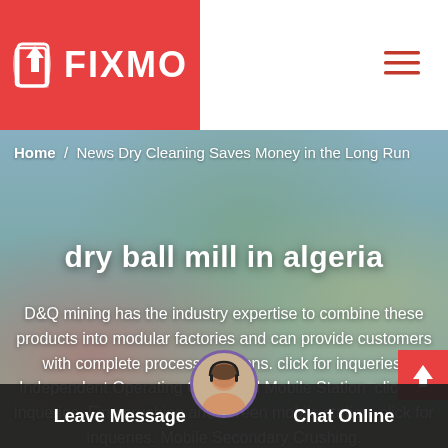[Figure (logo): FIXMO logo with white phone/arrow icon on red background]
Home / News Dry Cleaning Saves Money in the Long Run
dry ball mill in algeria
D&Q mining has the industry expertise to combine these products into modular factories and can provide customers with complete process solutions. click for inqueries. Independent Operating Combined Mobile Station  click for inqueries. Fine crushing and screen mobile station  click for inqueries. Mobile Secondary Crushing.
Leave Message
Chat Online